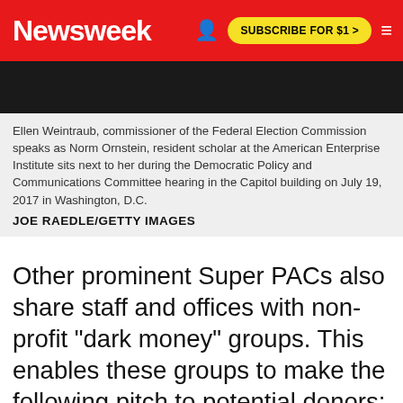Newsweek  SUBSCRIBE FOR $1 >
[Figure (photo): Dark photograph of people at a hearing, partially visible at top of page]
Ellen Weintraub, commissioner of the Federal Election Commission speaks as Norm Ornstein, resident scholar at the American Enterprise Institute sits next to her during the Democratic Policy and Communications Committee hearing in the Capitol building on July 19, 2017 in Washington, D.C.
JOE RAEDLE/GETTY IMAGES
Other prominent Super PACs also share staff and offices with non-profit "dark money" groups. This enables these groups to make the following pitch to potential donors: Give to our Super PAC if you want your name disclosed, or if you prefer to remain anonymous, give to our non-profit, which is slightly more limited in the